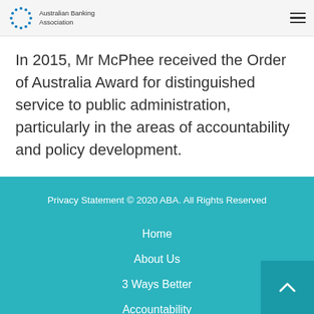Australian Banking Association
In 2015, Mr McPhee received the Order of Australia Award for distinguished service to public administration, particularly in the areas of accountability and policy development.
Privacy Statement © 2020 ABA. All Rights Reserved
Home
About Us
3 Ways Better
Accountability